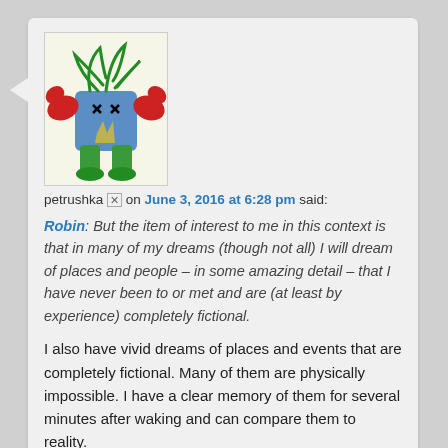[Figure (illustration): Cartoon avatar of a creature wearing a blue shirt with X eyes, red claws, and green legs]
petrushka [x] on June 3, 2016 at 6:28 pm said:
Robin: But the item of interest to me in this context is that in many of my dreams (though not all) I will dream of places and people – in some amazing detail – that I have never been to or met and are (at least by experience) completely fictional.
I also have vivid dreams of places and events that are completely fictional. Many of them are physically impossible. I have a clear memory of them for several minutes after waking and can compare them to reality.
It makes me think that consciousness and awareness are not proof of anything important about reality. I'm going to continue behaving as if